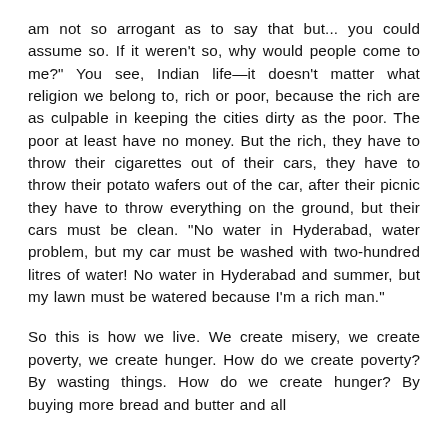am not so arrogant as to say that but... you could assume so. If it weren't so, why would people come to me?" You see, Indian life—it doesn't matter what religion we belong to, rich or poor, because the rich are as culpable in keeping the cities dirty as the poor. The poor at least have no money. But the rich, they have to throw their cigarettes out of their cars, they have to throw their potato wafers out of the car, after their picnic they have to throw everything on the ground, but their cars must be clean. "No water in Hyderabad, water problem, but my car must be washed with two-hundred litres of water! No water in Hyderabad and summer, but my lawn must be watered because I'm a rich man."
So this is how we live. We create misery, we create poverty, we create hunger. How do we create poverty? By wasting things. How do we create hunger? By buying more bread and butter and all